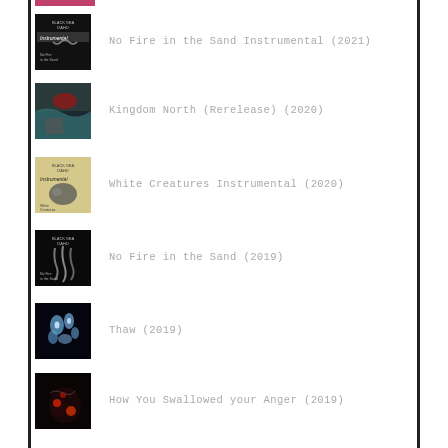No Fire in the Sand Instrumental (2021)
Kingdom North (Rerelease) (2020)
White Creatures Instrumental (2020)
No Fire in the Sand (2019)
Thaw (2019)
How You Swallowed your Anger (2019)